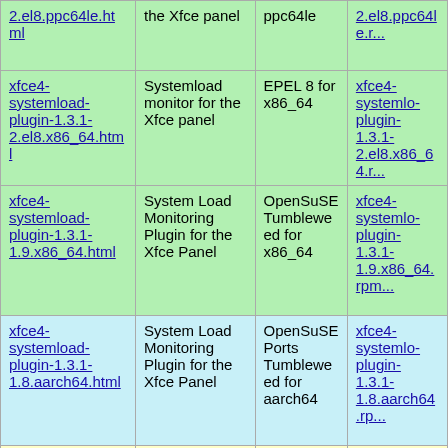| Package | Description | Repository | RPM |
| --- | --- | --- | --- |
| 2.el8.ppc64le.html | the Xfce panel | ppc64le | 2.el8.ppc64le.r... |
| xfce4-systemload-plugin-1.3.1-2.el8.x86_64.html | Systemload monitor for the Xfce panel | EPEL 8 for x86_64 | xfce4-systemlo-plugin-1.3.1-2.el8.x86_64.r... |
| xfce4-systemload-plugin-1.3.1-1.9.x86_64.html | System Load Monitoring Plugin for the Xfce Panel | OpenSuSE Tumbleweed for x86_64 | xfce4-systemlo-plugin-1.3.1-1.9.x86_64.rpm... |
| xfce4-systemload-plugin-1.3.1-1.8.aarch64.html | System Load Monitoring Plugin for the Xfce Panel | OpenSuSE Ports Tumbleweed for aarch64 | xfce4-systemlo-plugin-1.3.1-1.8.aarch64.rp... |
| xfce4-systemload-plugin-1.3.1-1.8.ppc64.html | System Load Monitoring Plugin for the Xfce Panel | OpenSuSE Ports Tumbleweed for ppc64 | xfce4-systemlo-plugin-1.3.1-1.8.ppc64.rpm... |